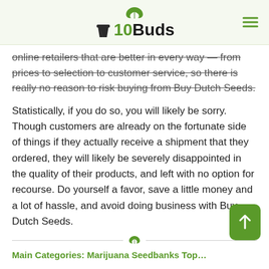10Buds
online retailers that are better in every way — from prices to selection to customer service, so there is really no reason to risk buying from Buy Dutch Seeds.
Statistically, if you do so, you will likely be sorry. Though customers are already on the fortunate side of things if they actually receive a shipment that they ordered, they will likely be severely disappointed in the quality of their products, and left with no option for recourse. Do yourself a favor, save a little money and a lot of hassle, and avoid doing business with Buy Dutch Seeds.
Main Categories: Marijuana Seedbanks Top...